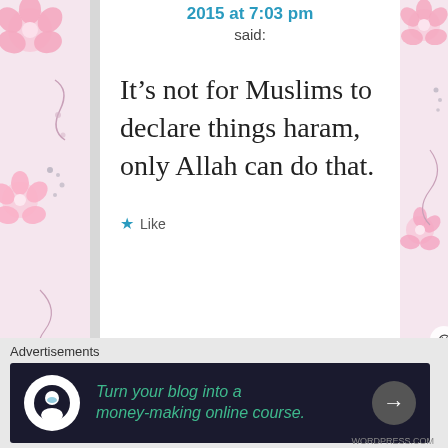2015 at 7:03 pm
said:
It’s not for Muslims to declare things haram, only Allah can do that.
★ Like
[Figure (screenshot): Advertisement banner: Turn your blog into a money-making online course.]